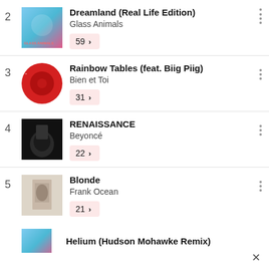2 | Dreamland (Real Life Edition) | Glass Animals | 59
3 | Rainbow Tables (feat. Biig Piig) | Bien et Toi | 31
4 | RENAISSANCE | Beyoncé | 22
5 | Blonde | Frank Ocean | 21
6 | Helium (Hudson Mohawke Remix)